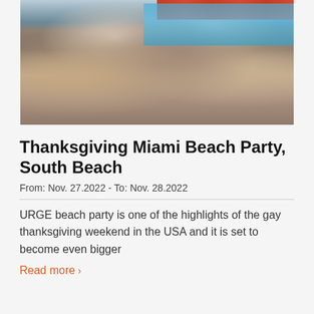[Figure (photo): Aerial/overhead view of a large crowd of people at a pool party, with a swimming pool visible in the background and red banners/signage along the top]
Thanksgiving Miami Beach Party, South Beach
From: Nov. 27.2022 - To: Nov. 28.2022
URGE beach party is one of the highlights of the gay thanksgiving weekend in the USA and it is set to become even bigger
Read more >